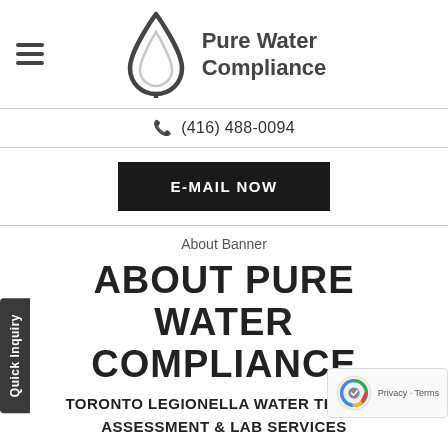[Figure (logo): Pure Water Compliance logo with water drop icon and text 'Pure Water Compliance']
(416) 488-0094
E-MAIL NOW
About Banner
ABOUT PURE WATER COMPLIANCE
TORONTO LEGIONELLA WATER TESTING ASSESSMENT & LAB SERVICES